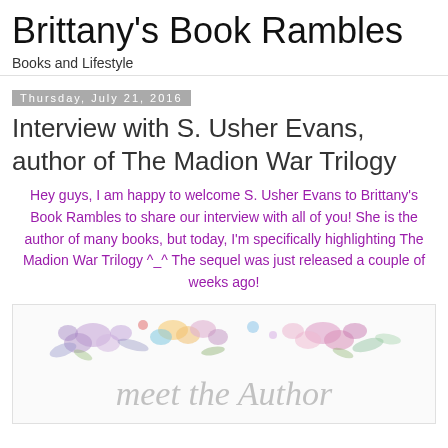Brittany's Book Rambles
Books and Lifestyle
Thursday, July 21, 2016
Interview with S. Usher Evans, author of The Madion War Trilogy
Hey guys, I am happy to welcome S. Usher Evans to Brittany's Book Rambles to share our interview with all of you! She is the author of many books, but today, I'm specifically highlighting The Madion War Trilogy ^_^ The sequel was just released a couple of weeks ago!
[Figure (illustration): Decorative banner with watercolor flowers and script text reading 'meet the Author']